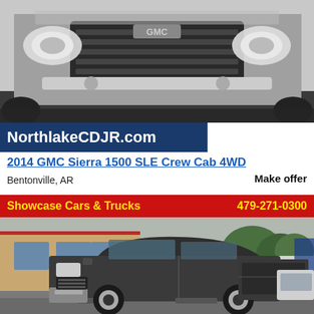[Figure (photo): Close-up photo of silver/grey GMC Sierra 1500 truck front end showing grille and headlights]
NorthlakeCDJR.com
2014 GMC Sierra 1500 SLE Crew Cab 4WD
Bentonville, AR
Make offer
Showcase Cars & Trucks
479-271-0300
[Figure (photo): Photo of dark grey/charcoal GMC Sierra 1500 crew cab 4WD truck parked in front of a dealership building]